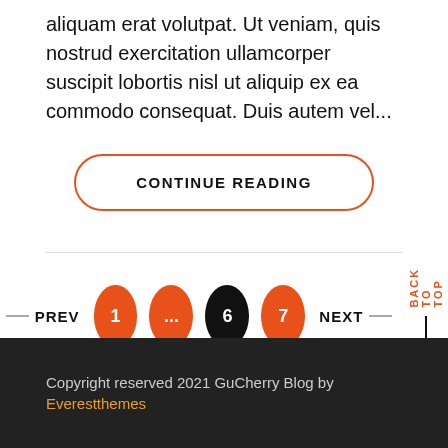aliquam erat volutpat. Ut veniam, quis nostrud exercitation ullamcorper suscipit lobortis nisl ut aliquip ex ea commodo consequat. Duis autem vel...
CONTINUE READING
PREV 1 ... 6 7 NEXT
BACK TO TOP
Copyright reserved 2021 GuCherry Blog by Everestthemes